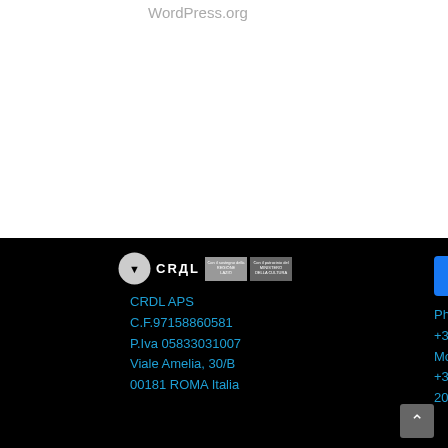WordPress.org
[Figure (logo): CRDL logo with circle icon, text CRDL and sponsor logos for Ministero della Cultura]
CRDL APS
C.F.97158860581
P.Iva 05833031007
Viale Amelia, 30/B
00181 ROMA Italia
[Figure (logo): Facebook icon blue square with white F]
Phone
+390645599406
Mob
+393291387217
2021 – by